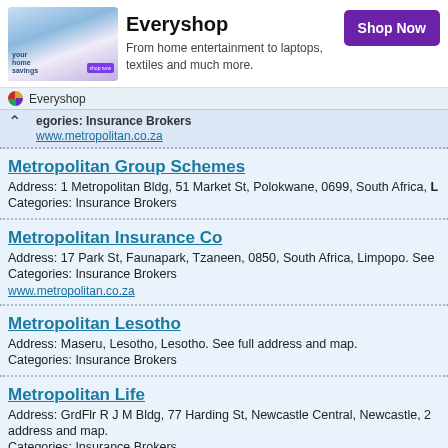[Figure (other): Everyshop advertisement banner with image of people, title 'Everyshop', description text, and purple Shop Now button]
Everyshop
egories: Insurance Brokers
www.metropolitan.co.za
Metropolitan Group Schemes
Address: 1 Metropolitan Bldg, 51 Market St, Polokwane, 0699, South Africa,
Categories: Insurance Brokers
Metropolitan Insurance Co
Address: 17 Park St, Faunapark, Tzaneen, 0850, South Africa, Limpopo. See
Categories: Insurance Brokers
www.metropolitan.co.za
Metropolitan Lesotho
Address: Maseru, Lesotho, Lesotho. See full address and map.
Categories: Insurance Brokers
Metropolitan Life
Address: GrdFlr R J M Bldg, 77 Harding St, Newcastle Central, Newcastle, 2
Categories: Insurance Brokers
www.metropolitan.co.za